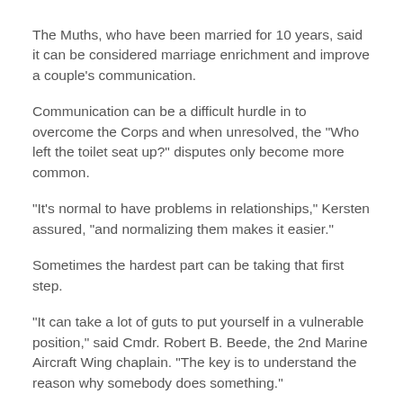The Muths, who have been married for 10 years, said it can be considered marriage enrichment and improve a couple's communication.
Communication can be a difficult hurdle in to overcome the Corps and when unresolved, the "Who left the toilet seat up?" disputes only become more common.
“It’s normal to have problems in relationships,” Kersten assured, “and normalizing them makes it easier.”
Sometimes the hardest part can be taking that first step.
“It can take a lot of guts to put yourself in a vulnerable position,” said Cmdr. Robert B. Beede, the 2nd Marine Aircraft Wing chaplain. “The key is to understand the reason why somebody does something.”
The “Laugh Your Way to a Better Marriage” seminar is scheduled every couple of months at the training and education building